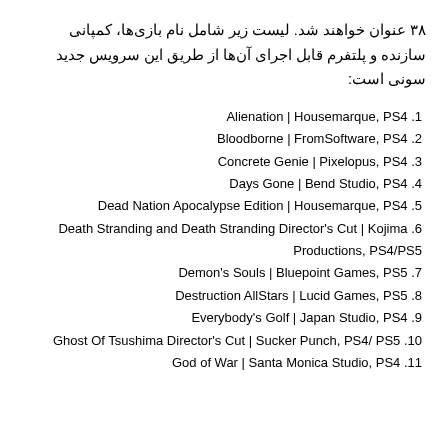۳۸ عنوان خواهند شد. لیست زیر شامل نام بازی‌ها، کمپانی سازنده و پلتفرم قابل اجرای آن‌ها از طریق این سرویس جدید سونی است:
1. Alienation | Housemarque, PS4
2. Bloodborne | FromSoftware, PS4
3. Concrete Genie | Pixelopus, PS4
4. Days Gone | Bend Studio, PS4
5. Dead Nation Apocalypse Edition | Housemarque, PS4
6. Death Stranding and Death Stranding Director's Cut | Kojima Productions, PS4/PS5
7. Demon's Souls | Bluepoint Games, PS5
8. Destruction AllStars | Lucid Games, PS5
9. Everybody's Golf | Japan Studio, PS4
10. Ghost Of Tsushima Director's Cut | Sucker Punch, PS4/ PS5
11. God of War | Santa Monica Studio, PS4